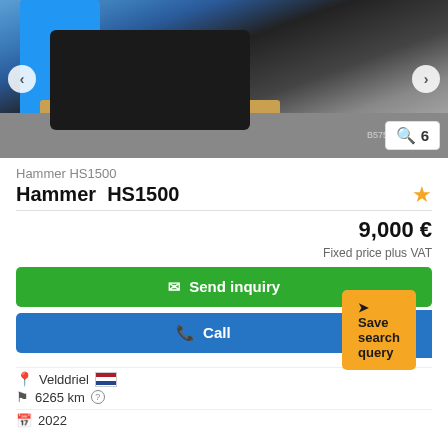[Figure (photo): Photo of Hammer HS1500 hydraulic hammer attachment on a pallet in a warehouse, with navigation arrows and image counter showing 6]
Hammer HS1500
Hammer  HS1500
9,000 €
Fixed price plus VAT
Send inquiry
Call
Velddriel
6265 km
Save search query
2022